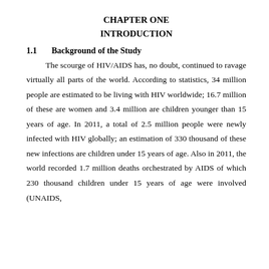CHAPTER ONE
INTRODUCTION
1.1    Background of the Study
The scourge of HIV/AIDS has, no doubt, continued to ravage virtually all parts of the world. According to statistics, 34 million people are estimated to be living with HIV worldwide; 16.7 million of these are women and 3.4 million are children younger than 15 years of age. In 2011, a total of 2.5 million people were newly infected with HIV globally; an estimation of 330 thousand of these new infections are children under 15 years of age. Also in 2011, the world recorded 1.7 million deaths orchestrated by AIDS of which 230 thousand children under 15 years of age were involved (UNAIDS,